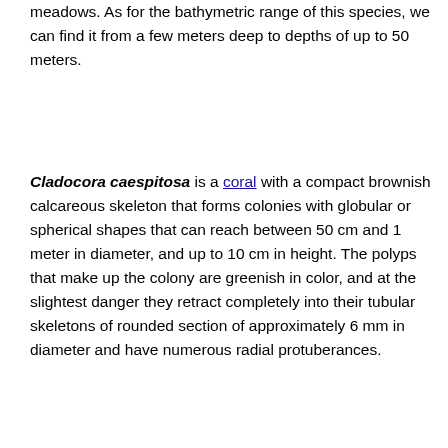meadows. As for the bathymetric range of this species, we can find it from a few meters deep to depths of up to 50 meters.
Cladocora caespitosa is a coral with a compact brownish calcareous skeleton that forms colonies with globular or spherical shapes that can reach between 50 cm and 1 meter in diameter, and up to 10 cm in height. The polyps that make up the colony are greenish in color, and at the slightest danger they retract completely into their tubular skeletons of rounded section of approximately 6 mm in diameter and have numerous radial protuberances.
The growth of Cladocora caespitosa is relatively slow, and it is a species with extremely long-lived specimens, with records of specimens that exceed 300 years of life.
In relation to the feeding of Cladocora caespitosa, we can